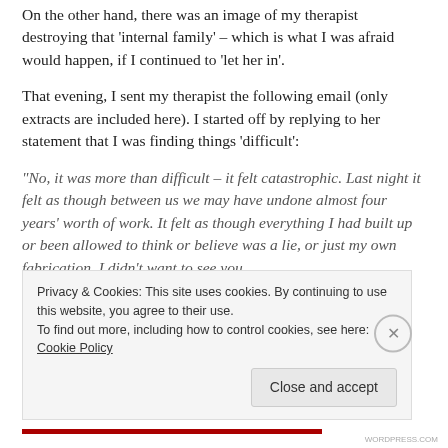On the other hand, there was an image of my therapist destroying that 'internal family' – which is what I was afraid would happen, if I continued to 'let her in'.
That evening, I sent my therapist the following email (only extracts are included here). I started off by replying to her statement that I was finding things 'difficult':
“No, it was more than difficult – it felt catastrophic. Last night it felt as though between us we may have undone almost four years’ worth of work. It felt as though everything I had built up or been allowed to think or believe was a lie, or just my own fabrication. I didn’t want to see you
Privacy & Cookies: This site uses cookies. By continuing to use this website, you agree to their use.
To find out more, including how to control cookies, see here: Cookie Policy
Close and accept